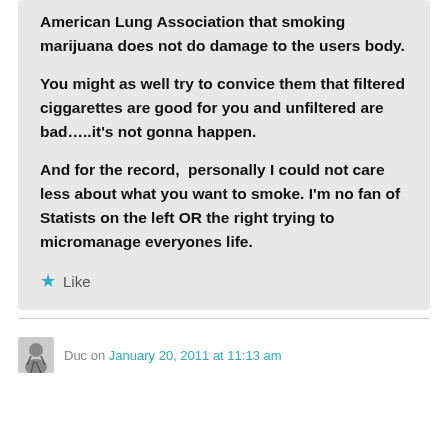American Lung Association that smoking marijuana does not do damage to the users body.

You might as well try to convice them that filtered ciggarettes are good for you and unfiltered are bad…..it's not gonna happen.

And for the record,  personally I could not care less about what you want to smoke. I'm no fan of Statists on the left OR the right trying to micromanage everyones life.
★ Like
Duc on January 20, 2011 at 11:13 am